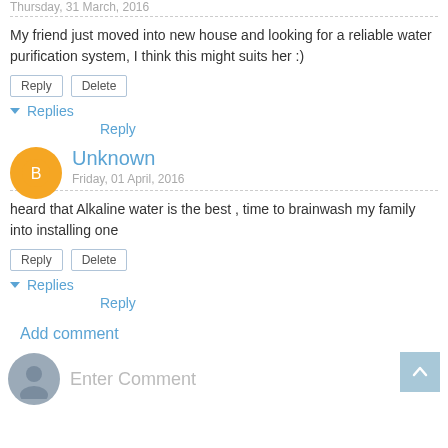Thursday, 31 March, 2016
My friend just moved into new house and looking for a reliable water purification system, I think this might suits her :)
Reply | Delete
▼ Replies
Reply
Unknown
Friday, 01 April, 2016
heard that Alkaline water is the best , time to brainwash my family into installing one
Reply | Delete
▼ Replies
Reply
Add comment
Enter Comment